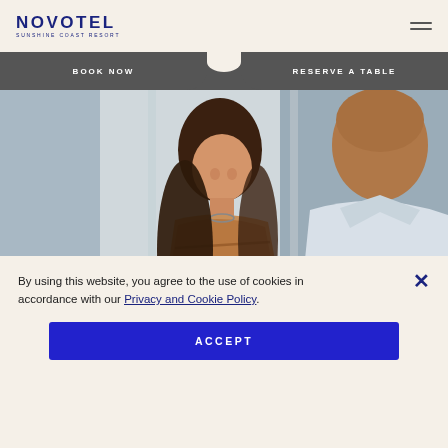[Figure (logo): Novotel Sunshine Coast Resort logo — text logo in dark navy blue]
[Figure (infographic): Navigation bar with two buttons: BOOK NOW and RESERVE A TABLE, dark grey with arch scallop divider]
[Figure (photo): Hotel check-in scene: smiling woman with long dark hair in striped top talking to a bald man in a white polo shirt]
By using this website, you agree to the use of cookies in accordance with our Privacy and Cookie Policy.
ACCEPT